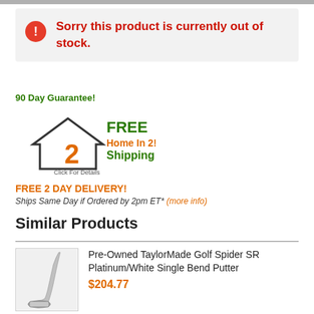Sorry this product is currently out of stock.
90 Day Guarantee!
[Figure (logo): FREE Home In 2! Shipping badge with house icon and orange number 2. Click For Details link below.]
FREE 2 DAY DELIVERY!
Ships Same Day if Ordered by 2pm ET* (more info)
Similar Products
[Figure (photo): Pre-Owned TaylorMade Golf Spider SR Platinum/White Single Bend Putter product photo]
Pre-Owned TaylorMade Golf Spider SR Platinum/White Single Bend Putter
$204.77